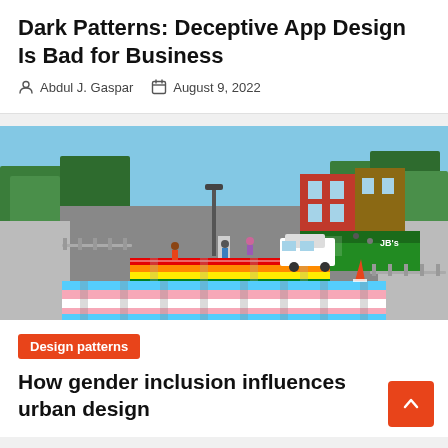Dark Patterns: Deceptive App Design Is Bad for Business
Abdul J. Gaspar   August 9, 2022
[Figure (photo): A rainbow colored pedestrian crosswalk on a city street during a pride event, with trees, storefronts, pedestrians, and a white car visible. The crosswalk in the foreground features blue, pink, and white stripes (transgender pride colors), and a further crosswalk shows rainbow colors.]
Design patterns
How gender inclusion influences urban design